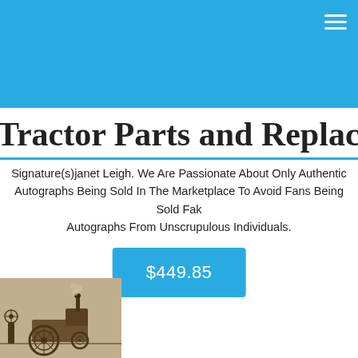Tractor Parts and Replacement
Signature(s)janet Leigh. We Are Passionate About Only Authentic Autographs Being Sold In The Marketplace To Avoid Fans Being Sold Fake Autographs From Unscrupulous Individuals.
$449.85
[Figure (photo): Antique sepia-toned photograph of an old tractor or mechanical equipment]